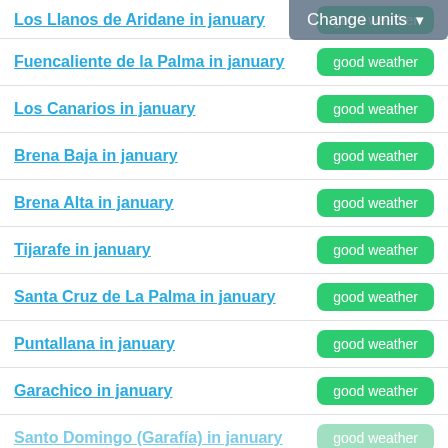Los Llanos de Aridane in january — good weather
Fuencaliente de la Palma in january — good weather
Los Canarios in january — good weather
Brena Baja in january — good weather
Brena Alta in january — good weather
Tijarafe in january — good weather
Santa Cruz de La Palma in january — good weather
Puntallana in january — good weather
Garachico in january — good weather
Santo Domingo (Garafía) in january — good weather
LA PALMA IN JANUARY: SEE FULL LIST OF CITIES